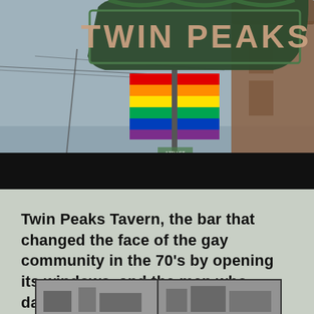[Figure (photo): Photograph of the Twin Peaks Tavern sign — a green arched marquee sign reading 'TWIN PEAKS' in large letters — with two rainbow pride flags hanging from a pole below it, against an overcast sky. A brick building is visible on the right edge.]
Twin Peaks Tavern, the bar that changed the face of the gay community in the 70's by opening its windows, and the men who dared to be seen.
[Figure (photo): Black and white historical photograph of Twin Peaks Tavern, shown from the street level. The image appears to be split into two panels showing the exterior of the bar.]